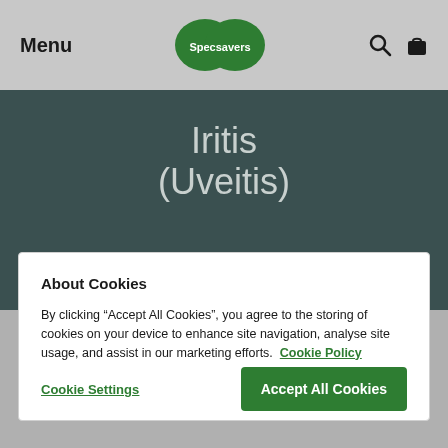Menu  Specsavers  [search] [bag]
Iritis
(Uveitis)
About Cookies
By clicking “Accept All Cookies”, you agree to the storing of cookies on your device to enhance site navigation, analyse site usage, and assist in our marketing efforts. Cookie Policy
Cookie Settings    Accept All Cookies
refer to the same condition. In fact, of all iritis